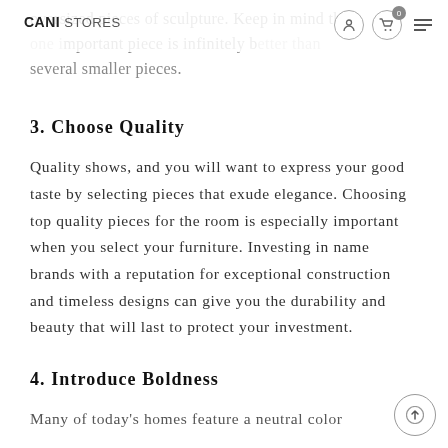oversized pieces of sculpture. Keep in mind that one important piece is infinitely better than several smaller pieces.
CANI STORES [nav with logo, icons, cart badge 0, hamburger menu]
3. Choose Quality
Quality shows, and you will want to express your good taste by selecting pieces that exude elegance. Choosing top quality pieces for the room is especially important when you select your furniture. Investing in name brands with a reputation for exceptional construction and timeless designs can give you the durability and beauty that will last to protect your investment.
4. Introduce Boldness
Many of today's homes feature a neutral color